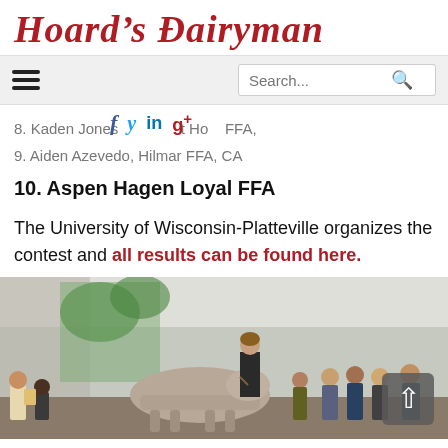Hoard's Dairyman
8. Kaden Jones, Pleasant Ho[me] FFA, [CA]
9. Aiden Azevedo, Hilmar FFA, CA
10. Aspen Hagen Loyal FFA
The University of Wisconsin-Platteville organizes the contest and all results can be found here.
[Figure (photo): A young woman presenting a cow to a crowd of spectators inside a show tent at an agricultural fair or FFA competition.]